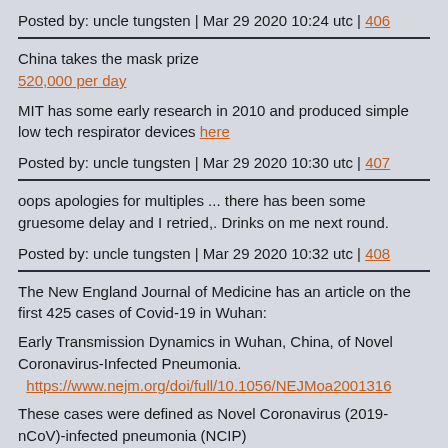Posted by: uncle tungsten | Mar 29 2020 10:24 utc | 406
China takes the mask prize
520,000 per day
MIT has some early research in 2010 and produced simple low tech respirator devices here
Posted by: uncle tungsten | Mar 29 2020 10:30 utc | 407
oops apologies for multiples ... there has been some gruesome delay and I retried,. Drinks on me next round.
Posted by: uncle tungsten | Mar 29 2020 10:32 utc | 408
The New England Journal of Medicine has an article on the first 425 cases of Covid-19 in Wuhan:
Early Transmission Dynamics in Wuhan, China, of Novel Coronavirus-Infected Pneumonia.
https://www.nejm.org/doi/full/10.1056/NEJMoa2001316
These cases were defined as Novel Coronavirus (2019-nCoV)-infected pneumonia (NCIP)